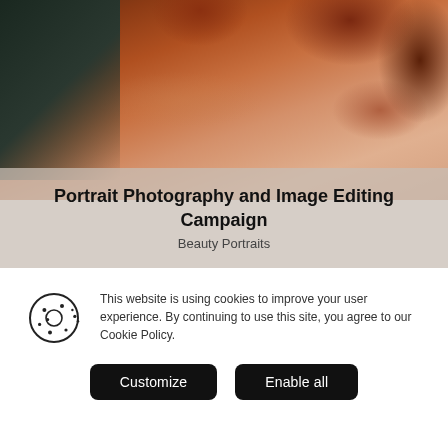[Figure (photo): Close-up portrait photo of a woman with curly red/auburn hair against a dark background, shoulders visible, showing a beauty portrait style.]
Portrait Photography and Image Editing Campaign
Beauty Portraits
This website is using cookies to improve your user experience. By continuing to use this site, you agree to our Cookie Policy.
Customize
Enable all